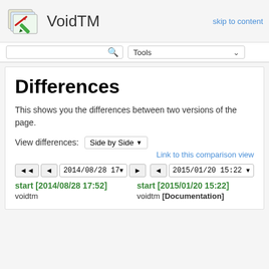VoidTM
Differences
This shows you the differences between two versions of the page.
View differences: Side by Side ▾
Link to this comparison view
◀◀ ◀ 2014/08/28 17▾ ▶ | ◀ 2015/01/20 15:22 ▾
start [2014/08/28 17:52]
voidtm
start [2015/01/20 15:22]
voidtm [Documentation]